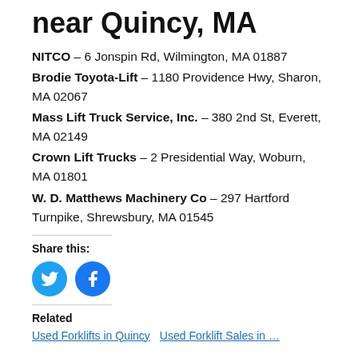… near Quincy, MA
NITCO – 6 Jonspin Rd, Wilmington, MA 01887
Brodie Toyota-Lift – 1180 Providence Hwy, Sharon, MA 02067
Mass Lift Truck Service, Inc. – 380 2nd St, Everett, MA 02149
Crown Lift Trucks – 2 Presidential Way, Woburn, MA 01801
W. D. Matthews Machinery Co – 297 Hartford Turnpike, Shrewsbury, MA 01545
Share this:
[Figure (illustration): Twitter and Facebook social share icon buttons (circular blue icons)]
Related
Used Forklifts in Quincy    Used Forklift Sales in …